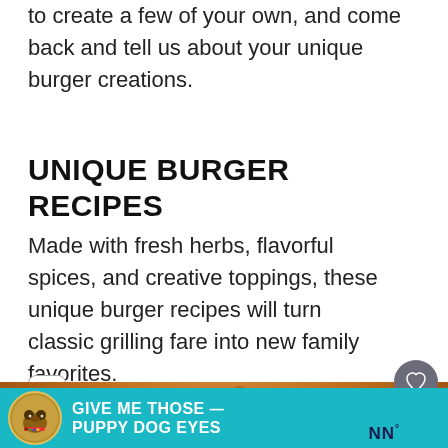to create a few of your own, and come back and tell us about your unique burger creations.
UNIQUE BURGER RECIPES
Made with fresh herbs, flavorful spices, and creative toppings, these unique burger recipes will turn classic grilling fare into new family favorites.
[Figure (photo): Close-up photo of a burger bun from above, warm golden-brown color]
[Figure (infographic): Teal advertisement banner with dog image and text GIVE ME THOSE PUPPY DOG EYES with close button and heart icon]